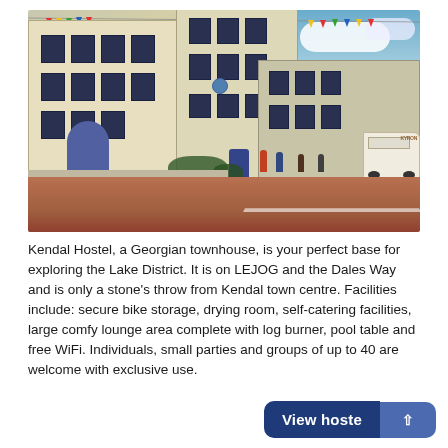[Figure (photo): Street-level photograph of Kendal Hostel, a Georgian townhouse on a street with red-brick paving. The cream-coloured multi-storey building has dark-framed windows and a blue arched doorway. Colourful bunting flags are strung above. People walk on the pavement and a van is parked on the right. Blue sky with clouds in the background.]
Kendal Hostel, a Georgian townhouse, is your perfect base for exploring the Lake District. It is on LEJOG and the Dales Way and is only a stone's throw from Kendal town centre. Facilities include: secure bike storage, drying room, self-catering facilities, large comfy lounge area complete with log burner, pool table and free WiFi. Individuals, small parties and groups of up to 40 are welcome with exclusive use.